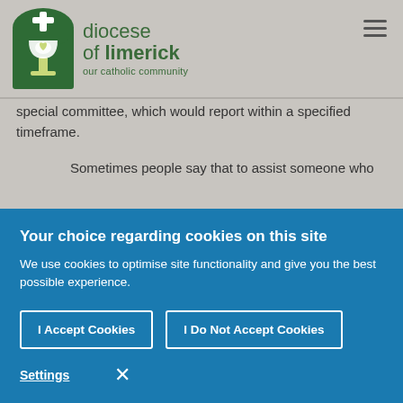[Figure (logo): Diocese of Limerick logo — green arch shape with chalice/dove motif, cross at top, with text 'diocese of limerick our catholic community']
special committee, which would report within a specified timeframe.
Sometimes people say that to assist someone who
Your choice regarding cookies on this site
We use cookies to optimise site functionality and give you the best possible experience.
I Accept Cookies
I Do Not Accept Cookies
Settings